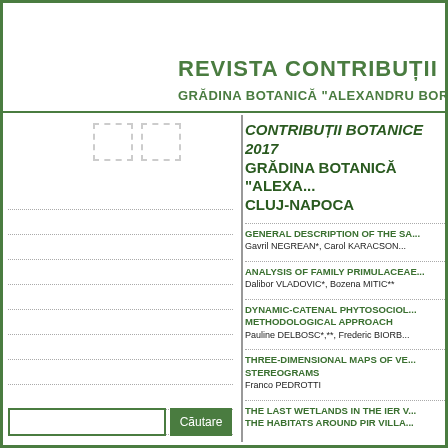REVISTA CONTRIBUȚII BOTANICE
GRĂDINA BOTANICĂ "ALEXANDRU BORZA"
[Figure (other): Two small dashed thumbnail boxes and multiple dotted horizontal lines forming a form/index area in the left column]
CONTRIBUȚII BOTANICE 2017 GRĂDINA BOTANICĂ "ALEXANDRU BORZA" CLUJ-NAPOCA
GENERAL DESCRIPTION OF THE SA...
Gavril NEGREAN*, Carol KARACSON...
ANALYSIS OF FAMILY PRIMULACEAE...
Dalibor VLADOVIC*, Bozena MITIC**
DYNAMIC-CATENAL PHYTOSOCIOL... METHODOLOGICAL APPROACH
Pauline DELBOSC*,**, Frederic BIORB...
THREE-DIMENSIONAL MAPS OF VE... STEREOGRAMS
Franco PEDROTTI
THE LAST WETLANDS IN THE IER V... THE HABITATS AROUND PIR VILLA...